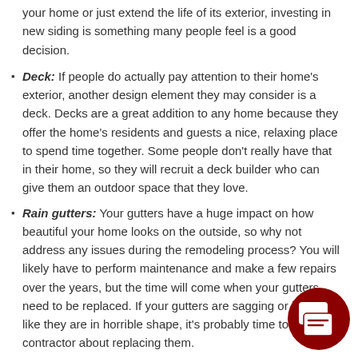your home or just extend the life of its exterior, investing in new siding is something many people feel is a good decision.
Deck: If people do actually pay attention to their home's exterior, another design element they may consider is a deck. Decks are a great addition to any home because they offer the home's residents and guests a nice, relaxing place to spend time together. Some people don't really have that in their home, so they will recruit a deck builder who can give them an outdoor space that they love.
Rain gutters: Your gutters have a huge impact on how beautiful your home looks on the outside, so why not address any issues during the remodeling process? You will likely have to perform maintenance and make a few repairs over the years, but the time will come when your gutters need to be replaced. If your gutters are sagging or just look like they are in horrible shape, it's probably time to talk to a contractor about replacing them.